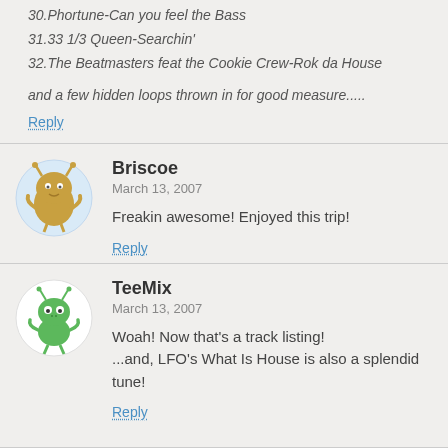30.Phortune-Can you feel the Bass
31.33 1/3 Queen-Searchin'
32.The Beatmasters feat the Cookie Crew-Rok da House
and a few hidden loops thrown in for good measure.....
Reply
Briscoe
March 13, 2007
Freakin awesome! Enjoyed this trip!
Reply
TeeMix
March 13, 2007
Woah! Now that's a track listing!
...and, LFO's What Is House is also a splendid tune!
Reply